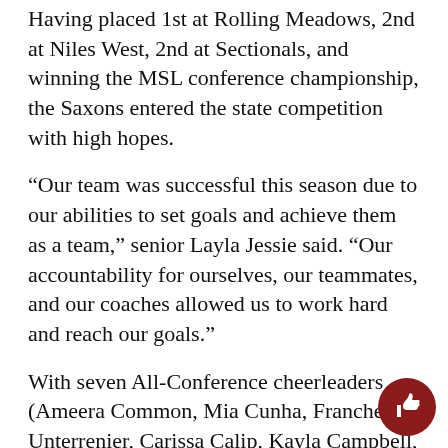Having placed 1st at Rolling Meadows, 2nd at Niles West, 2nd at Sectionals, and winning the MSL conference championship, the Saxons entered the state competition with high hopes.
“Our team was successful this season due to our abilities to set goals and achieve them as a team,” senior Layla Jessie said. “Our accountability for ourselves, our teammates, and our coaches allowed us to work hard and reach our goals.”
With seven All-Conference cheerleaders (Ameera Common, Mia Cunha, Franchesca Unterrenier, Carissa Calip, Kayla Campbell, Layla Jessie, and Selena Johnson) the squad had to relearn skills like stunting since in 2020, stunting was not permitted.
“The athletes had to push through to regain skills that had not been utilized for an entire year,” stated